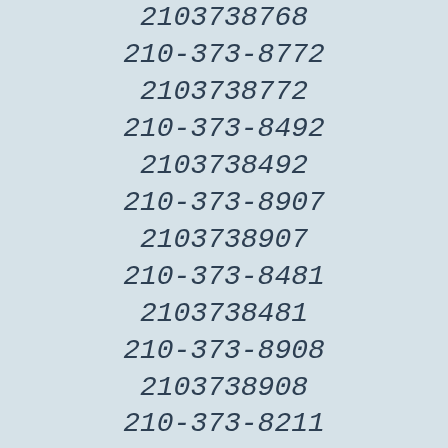2103738768
210-373-8772
2103738772
210-373-8492
2103738492
210-373-8907
2103738907
210-373-8481
2103738481
210-373-8908
2103738908
210-373-8211
2103738211
210-373-8406
2103738406
210-373-8400